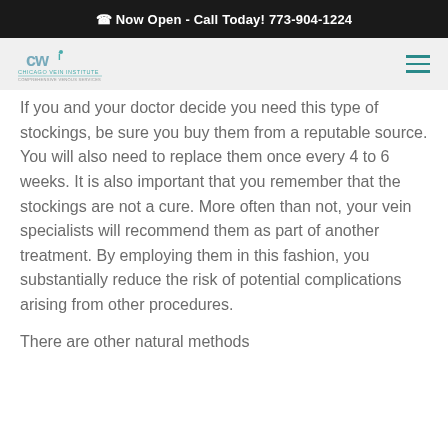Now Open - Call Today! 773-904-1224
[Figure (logo): Chicago Vein Institute logo (CWI initials with text)]
If you and your doctor decide you need this type of stockings, be sure you buy them from a reputable source. You will also need to replace them once every 4 to 6 weeks. It is also important that you remember that the stockings are not a cure. More often than not, your vein specialists will recommend them as part of another treatment. By employing them in this fashion, you substantially reduce the risk of potential complications arising from other procedures.
There are other natural methods